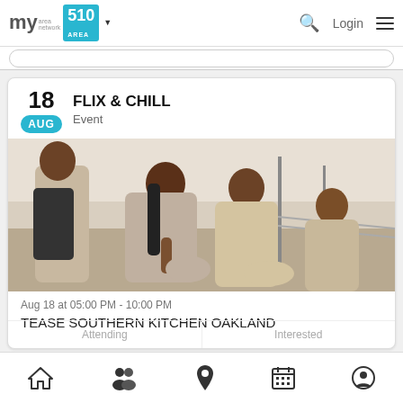my area network | 510 AREA | Login
FLIX & CHILL
Event
[Figure (photo): Four women sitting together outdoors on what appears to be a rooftop or elevated area, dressed in light-colored clothing. The image has a vintage look.]
Aug 18 at 05:00 PM - 10:00 PM
TEASE SOUTHERN KITCHEN OAKLAND
Home | Groups | Location | Calendar | Profile